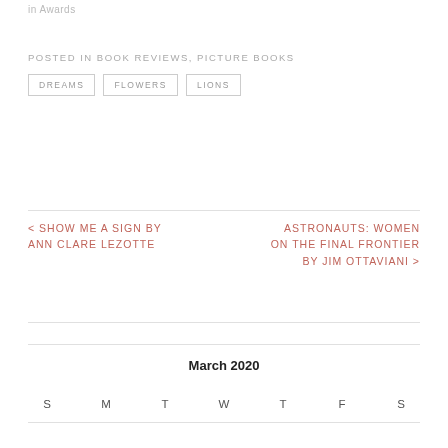in Awards
POSTED IN BOOK REVIEWS, PICTURE BOOKS
DREAMS
FLOWERS
LIONS
< SHOW ME A SIGN BY ANN CLARE LEZOTTE
ASTRONAUTS: WOMEN ON THE FINAL FRONTIER BY JIM OTTAVIANI >
March 2020
| S | M | T | W | T | F | S |
| --- | --- | --- | --- | --- | --- | --- |